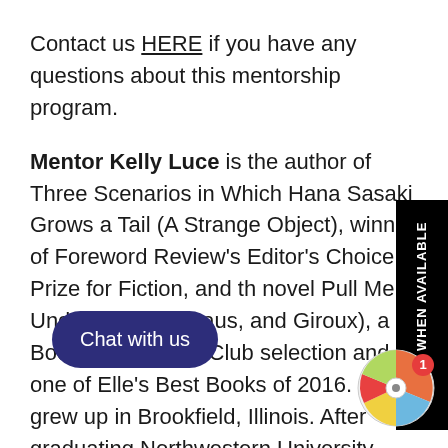Contact us HERE if you have any questions about this mentorship program.
Mentor Kelly Luce is the author of Three Scenarios in Which Hana Sasaki Grows a Tail (A Strange Object), winner of Foreword Review's Editor's Choice Prize for Fiction, and the novel Pull Me Under (Farrar, Straus, and Giroux), a Book of the Month Club selection and one of Elle's Best Books of 2016. She grew up in Brookfield, Illinois. After graduating from Northwestern University with a degree in cognitive science, she moved to Japan, where she lived and worked for three years. Her work has been recognized by fellowships from MacDowell Colony, Yaddo, Ucross Foundation, Sozopol Fiction Seminars, Ragdale Foundation, the Kerouac Project and more. Her work has appeared in New York Magazine, Chicago Tribune, O, the Oprah Magazine, The Southern Review, and other publications. She received an